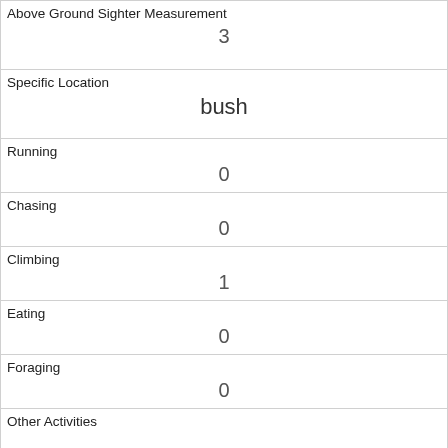| Above Ground Sighter Measurement | 3 |
| Specific Location | bush |
| Running | 0 |
| Chasing | 0 |
| Climbing | 1 |
| Eating | 0 |
| Foraging | 0 |
| Other Activities |  |
| Kuks | 0 |
| Quaas | 0 |
| Moans |  |